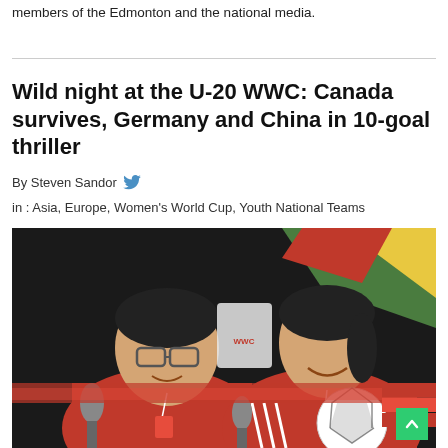members of the Edmonton and the national media.
Wild night at the U-20 WWC: Canada survives, Germany and China in 10-goal thriller
By Steven Sandor
in : Asia, Europe, Women's World Cup, Youth National Teams
[Figure (photo): Two Chinese team members at a press conference table with microphones and a FIFA soccer ball; a colorful backdrop visible behind them.]